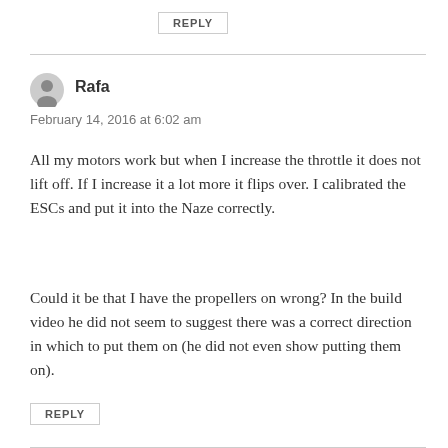REPLY
Rafa
February 14, 2016 at 6:02 am
All my motors work but when I increase the throttle it does not lift off. If I increase it a lot more it flips over. I calibrated the ESCs and put it into the Naze correctly.
Could it be that I have the propellers on wrong? In the build video he did not seem to suggest there was a correct direction in which to put them on (he did not even show putting them on).
REPLY